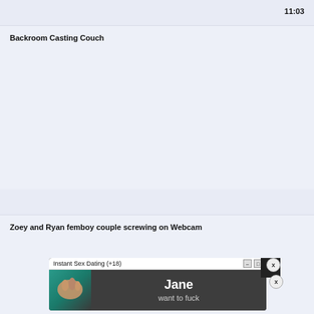11:03
Backroom Casting Couch
12:19
Zoey and Ryan femboy couple screwing on Webcam
[Figure (screenshot): Popup advertisement window titled 'Instant Sex Dating (+18)' with minimize and close buttons, showing a thumbnail image on the left and text 'Jane want to fuck' on a dark background.]